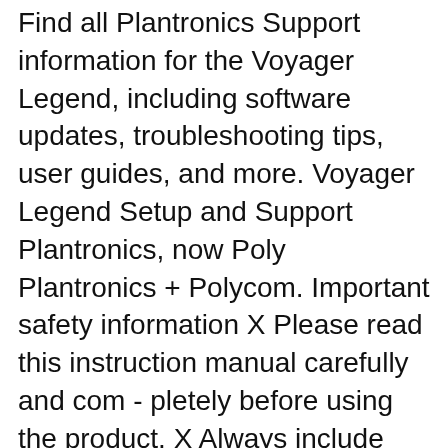Find all Plantronics Support information for the Voyager Legend, including software updates, troubleshooting tips, user guides, and more. Voyager Legend Setup and Support Plantronics, now Poly Plantronics + Polycom. Important safety information X Please read this instruction manual carefully and com - pletely before using the product. X Always include this instruction manual when passing the product on to third parties. X Do not use an obviously defective product. Preventing damage to health and accidents X Do not listen at high volume levels for long periods of time to prevent hearing damage.
Ghostek soDrop 2 Wireless Bluetooth